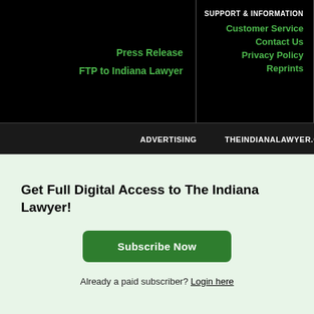Press Release
FTP to Indiana Lawyer
SUPPORT & INFORMATION
Customer Service
Contact Us
Privacy Policy
Reprints
ADVERTISING | THEINDIANALAWYER.COM
Get Full Digital Access to The Indiana Lawyer!
Subscribe Now
Already a paid subscriber? Login here